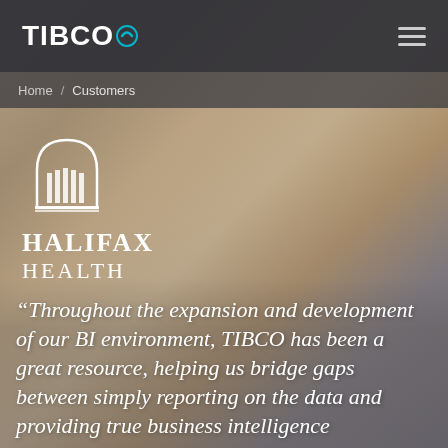TIBCO
Home / Customers
[Figure (logo): Halifax Health logo — architectural arch/building icon above text 'HALIFAX HEALTH']
“Throughout the expansion and development of our BI environment, TIBCO has been a great resource, helping us bridge gaps between simply reporting on the data and providing true business intelligence